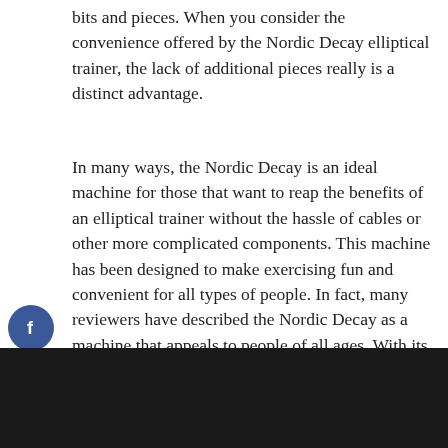bits and pieces. When you consider the convenience offered by the Nordic Decay elliptical trainer, the lack of additional pieces really is a distinct advantage.
In many ways, the Nordic Decay is an ideal machine for those that want to reap the benefits of an elliptical trainer without the hassle of cables or other more complicated components. This machine has been designed to make exercising fun and convenient for all types of people. In fact, many reviewers have described the Nordic Decay as a machine that appeals to people of all ages. With its compact design and simple-to-use operation, the Nordic Decay is an elliptical trainer that every consumer should consider.
[Figure (other): Social share buttons: Facebook (blue), Google+ (red), Twitter (blue), Plus/More (dark gray)]